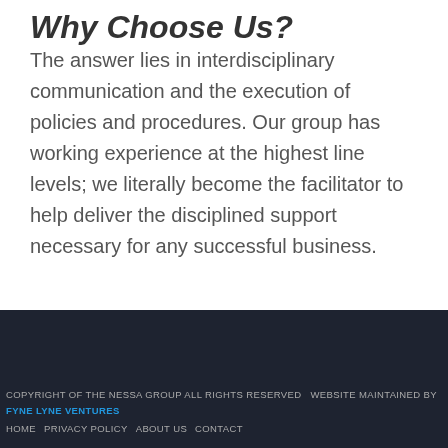Why Choose Us?
The answer lies in interdisciplinary communication and the execution of policies and procedures. Our group has working experience at the highest line levels; we literally become the facilitator to help deliver the disciplined support necessary for any successful business.
COPYRIGHT OF THE NESSA GROUP ALL RIGHTS RESERVED   WEBSITE MAINTAINED BY FYNE LYNE VENTURES
HOME   PRIVACY POLICY   ABOUT US   CONTACT